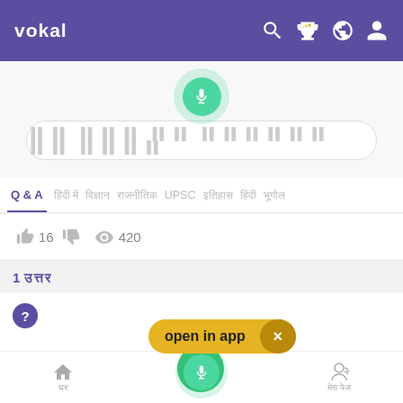vokal
[Figure (screenshot): Vokal app screenshot showing search bar with mic button, Q&A navigation tabs, stats row with 16 likes and 420 views, answer count '1 उत्तर', answer card with open in app banner, and bottom navigation bar]
Q & A | UPSC
16  420
1 उत्तर
open in app
होम  बोलें  मेरा पेज